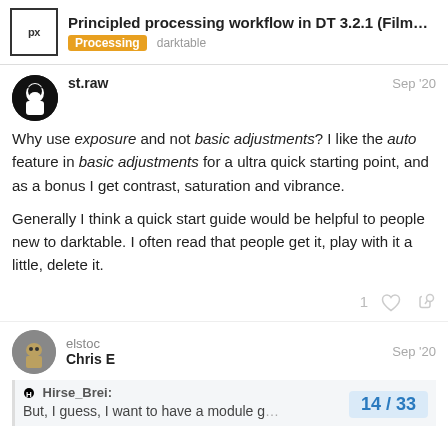Principled processing workflow in DT 3.2.1 (Film... | Processing | darktable
st.raw — Sep '20
Why use exposure and not basic adjustments? I like the auto feature in basic adjustments for a ultra quick starting point, and as a bonus I get contrast, saturation and vibrance.

Generally I think a quick start guide would be helpful to people new to darktable. I often read that people get it, play with it a little, delete it.
elstoc Chris E — Sep '20
Hirse_Brei:
But, I guess, I want to have a module g...
14 / 33